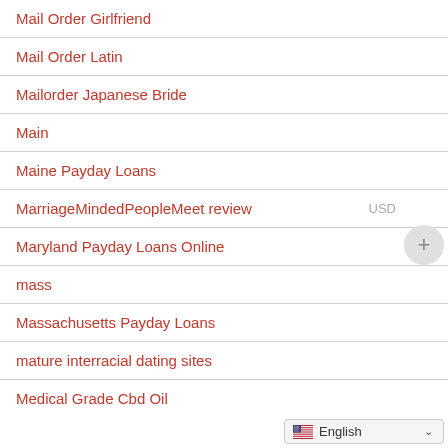Mail Order Girlfriend
Mail Order Latin
Mailorder Japanese Bride
Main
Maine Payday Loans
MarriageMindedPeopleMeet review
Maryland Payday Loans Online
mass
Massachusetts Payday Loans
mature interracial dating sites
Medical Grade Cbd Oil